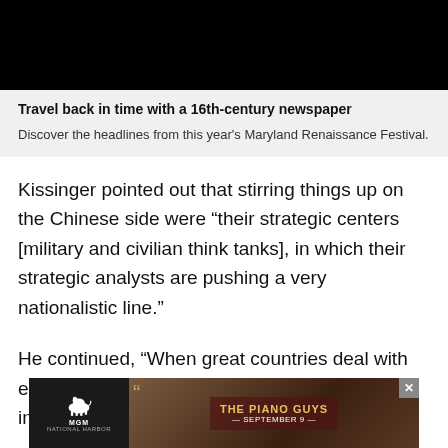[Figure (photo): Black rectangle representing a video or image placeholder at top of page]
Travel back in time with a 16th-century newspaper
Discover the headlines from this year's Maryland Renaissance Festival.
Kissinger pointed out that stirring things up on the Chinese side were “their strategic centers [military and civilian think tanks], in which their strategic analysts are pushing a very nationalistic line.”
He continued, “When great countries deal with each other there is a balancing element involved, but the balance…
[Figure (photo): MGM advertisement banner featuring The Piano Guys, September 9]